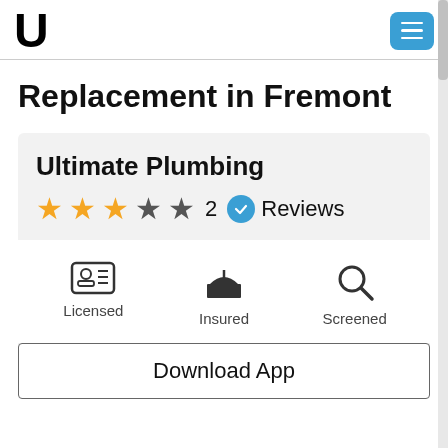U [logo] [menu button]
Replacement in Fremont
Ultimate Plumbing
★★★☆☆ 2 ✓ Reviews
Licensed   Insured   Screened
Download App